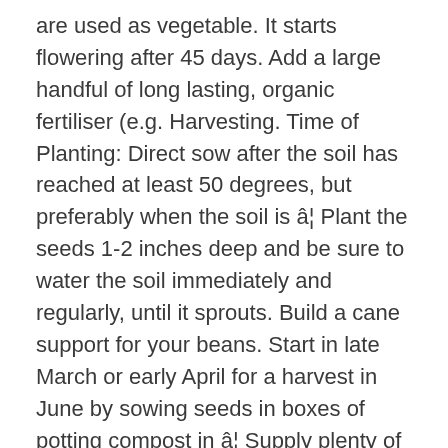are used as vegetable. It starts flowering after 45 days. Add a large handful of long lasting, organic fertiliser (e.g. Harvesting. Time of Planting: Direct sow after the soil has reached at least 50 degrees, but preferably when the soil is â¦ Plant the seeds 1-2 inches deep and be sure to water the soil immediately and regularly, until it sprouts. Build a cane support for your beans. Start in late March or early April for a harvest in June by sowing seeds in boxes of potting compost in â¦ Supply plenty of water to the roots from flowering through to harvest. This actually forms from your beans growing in overly wet conditions. It is very tasty and also nutritious being leguminous. This involves gradually acclimatising them to outdoor conditions by placing them outside during the day and bringing them back in at night, before finally keeping them outside all the time. Sow direct into soil once the risk of frost has passed.